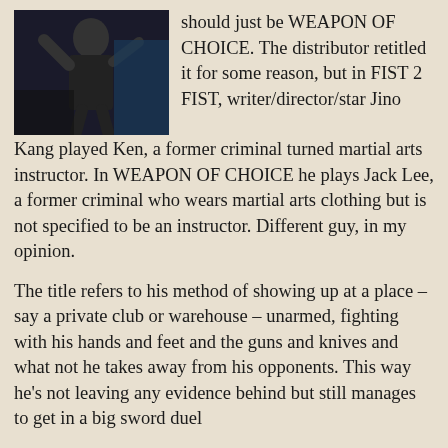[Figure (photo): A person in dark clothing standing near what appears to be a car, appearing to demonstrate a martial arts or action pose]
should just be WEAPON OF CHOICE. The distributor retitled it for some reason, but in FIST 2 FIST, writer/director/star Jino Kang played Ken, a former criminal turned martial arts instructor. In WEAPON OF CHOICE he plays Jack Lee, a former criminal who wears martial arts clothing but is not specified to be an instructor. Different guy, in my opinion.
The title refers to his method of showing up at a place – say a private club or warehouse – unarmed, fighting with his hands and feet and the guns and knives and what not he takes away from his opponents. This way he's not leaving any evidence behind but still manages to get in a big sword duel